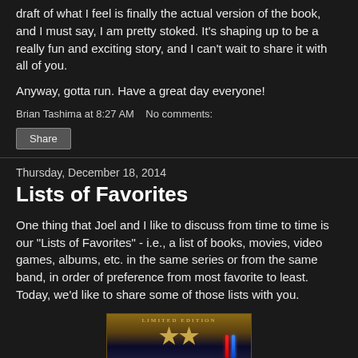draft of what I feel is finally the actual version of the book, and I must say, I am pretty stoked. It's shaping up to be a really fun and exciting story, and I can't wait to share it with all of you.
Anyway, gotta run. Have a great day everyone!
Brian Tashima at 8:27 AM   No comments:
Share
Thursday, December 18, 2014
Lists of Favorites
One thing that Joel and I like to discuss from time to time is our "Lists of Favorites" - i.e., a list of books, movies, video games, albums, etc. in the same series or from the same band, in order of preference from most favorite to least. Today, we'd like to share some of those lists with you.
[Figure (photo): Limited Edition Star Wars box set cover with gold text and lightsabers]